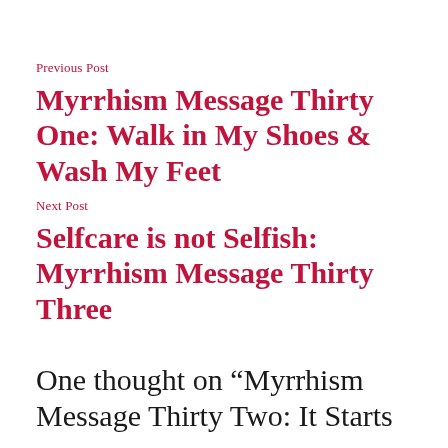Previous Post
Myrrhism Message Thirty One: Walk in My Shoes & Wash My Feet
Next Post
Selfcare is not Selfish: Myrrhism Message Thirty Three
One thought on “Myrrhism Message Thirty Two: It Starts